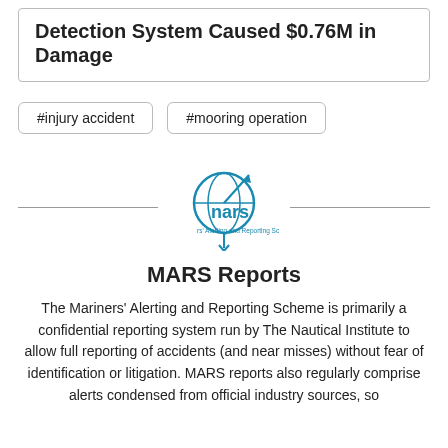Detection System Caused $0.76M in Damage
#injury accident
#mooring operation
[Figure (logo): MARS (Mariners' Alerting and Reporting Scheme) logo with compass/globe icon and tagline]
MARS Reports
The Mariners' Alerting and Reporting Scheme is primarily a confidential reporting system run by The Nautical Institute to allow full reporting of accidents (and near misses) without fear of identification or litigation. MARS reports also regularly comprise alerts condensed from official industry sources, so